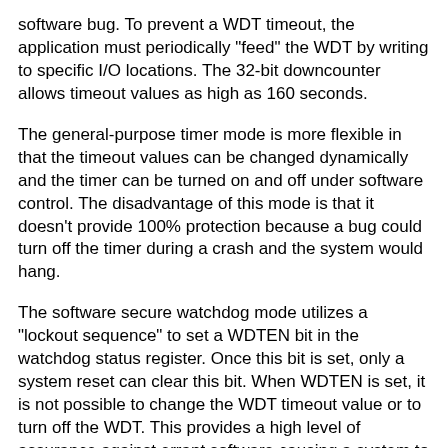software bug. To prevent a WDT timeout, the application must periodically "feed" the WDT by writing to specific I/O locations. The 32-bit downcounter allows timeout values as high as 160 seconds.
The general-purpose timer mode is more flexible in that the timeout values can be changed dynamically and the timer can be turned on and off under software control. The disadvantage of this mode is that it doesn't provide 100% protection because a bug could turn off the timer during a crash and the system would hang.
The software secure watchdog mode utilizes a "lockout sequence" to set a WDTEN bit in the watchdog status register. Once this bit is set, only a system reset can clear this bit. When WDTEN is set, it is not possible to change the WDT timeout value or to turn off the WDT. This provides a high level of assurance against errant software causing a system to hang.
For details see the Intel 386EX User Manual.